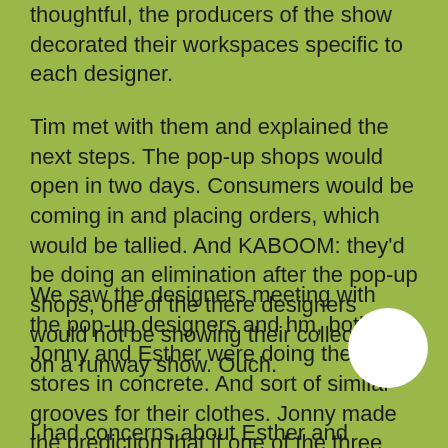thoughtful, the producers of the show decorated their workspaces specific to each designer.
Tim met with them and explained the next steps. The pop-up shops would open in two days. Consumers would be coming in and placing orders, which would be tallied. And KABOOM: they'd be doing an elimination after the pop-up shops, one of the there designers would not be showing their collection on a runway show. Ouch.
We saw the designers meeting with the pop-up designers and hm, both Jonny and Esther were doing their stores in concrete. And sort of similar grooves for their clothes. Jonny made the prediction that if one of the three designers would be sent home, it would probably be h or Esther.
I had concerns about Esther and Johnny: